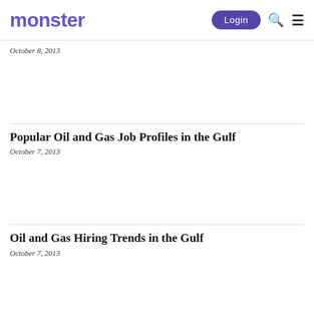monster  Login 🔍 ☰
October 8, 2013
Popular Oil and Gas Job Profiles in the Gulf
October 7, 2013
Oil and Gas Hiring Trends in the Gulf
October 7, 2013
Gulf Oil & Gas Sector Calls More Workforce to Join